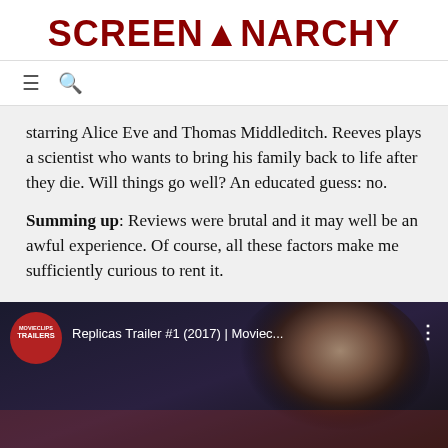SCREENANARCHY
starring Alice Eve and Thomas Middleditch. Reeves plays a scientist who wants to bring his family back to life after they die. Will things go well? An educated guess: no.
Summing up: Reviews were brutal and it may well be an awful experience. Of course, all these factors make me sufficiently curious to rent it.
[Figure (screenshot): YouTube trailer thumbnail for Replicas Trailer #1 (2017) showing a man's face in dark lighting with Movieclips Trailers badge]
[Figure (screenshot): Advertisement banner showing quote 'Incredibly erotic.' - Manuel Betancourt, VARIETY and text PRIVATE DESERT with a woman's image]